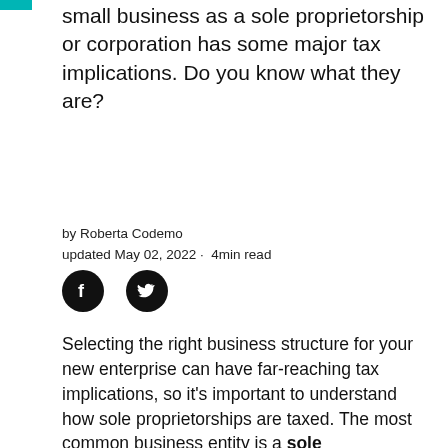small business as a sole proprietorship or corporation has some major tax implications. Do you know what they are?
by Roberta Codemo
updated May 02, 2022 · 4min read
[Figure (illustration): Facebook and Twitter social media share icons (black circular buttons with white logos)]
Selecting the right business structure for your new enterprise can have far-reaching tax implications, so it's important to understand how sole proprietorships are taxed. The most common business entity is a sole proprietorship business, which is owned and run by one person.